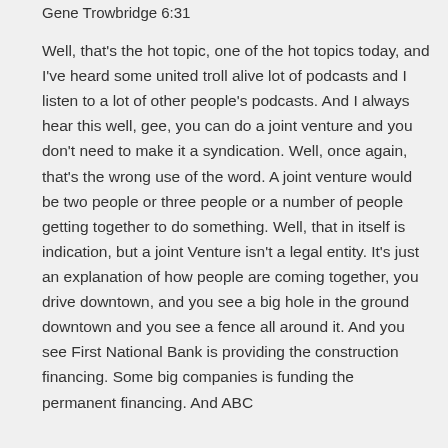Gene Trowbridge 6:31
Well, that's the hot topic, one of the hot topics today, and I've heard some united troll alive lot of podcasts and I listen to a lot of other people's podcasts. And I always hear this well, gee, you can do a joint venture and you don't need to make it a syndication. Well, once again, that's the wrong use of the word. A joint venture would be two people or three people or a number of people getting together to do something. Well, that in itself is indication, but a joint Venture isn't a legal entity. It's just an explanation of how people are coming together, you drive downtown, and you see a big hole in the ground downtown and you see a fence all around it. And you see First National Bank is providing the construction financing. Some big companies is funding the permanent financing. And ABC